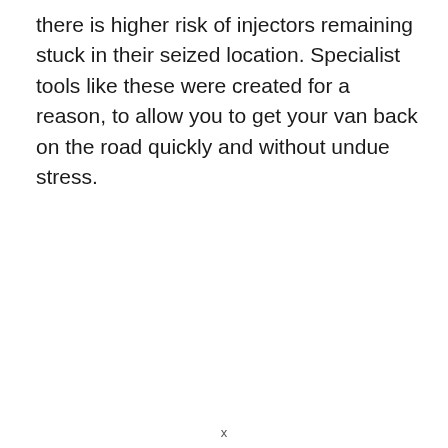there is higher risk of injectors remaining stuck in their seized location. Specialist tools like these were created for a reason, to allow you to get your van back on the road quickly and without undue stress.
x